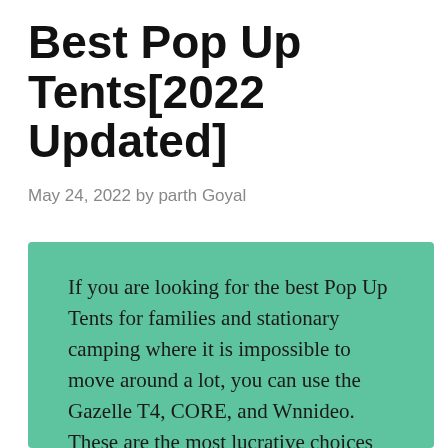Best Pop Up Tents[2022 Updated]
May 24, 2022 by parth Goyal
If you are looking for the best Pop Up Tents for families and stationary camping where it is impossible to move around a lot, you can use the Gazelle T4, CORE, and Wnnideo. These are the most lucrative choices because they are spacious. But the packed